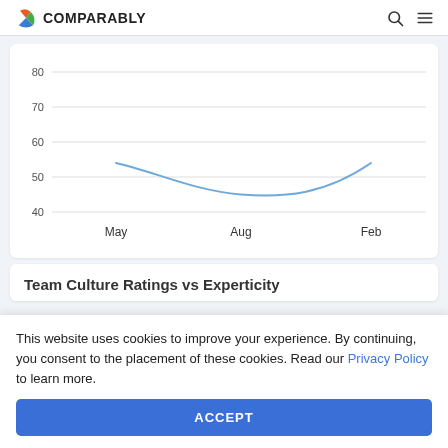COMPARABLY
[Figure (line-chart): ]
Team Culture Ratings vs Experticity
This website uses cookies to improve your experience. By continuing, you consent to the placement of these cookies. Read our Privacy Policy to learn more.
ACCEPT